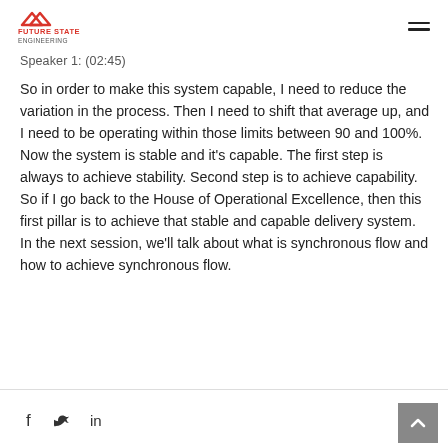Future State Engineering
Speaker 1: (02:45)
So in order to make this system capable, I need to reduce the variation in the process. Then I need to shift that average up, and I need to be operating within those limits between 90 and 100%. Now the system is stable and it’s capable. The first step is always to achieve stability. Second step is to achieve capability. So if I go back to the House of Operational Excellence, then this first pillar is to achieve that stable and capable delivery system. In the next session, we’ll talk about what is synchronous flow and how to achieve synchronous flow.
f  ᴜ  in